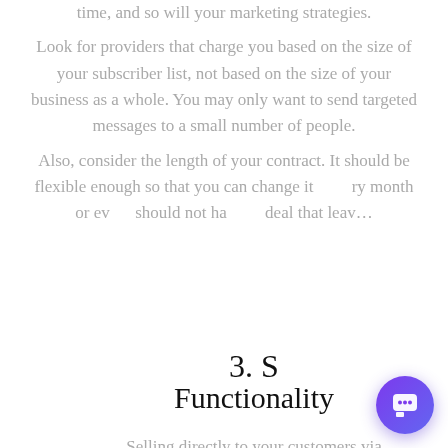time, and so will your marketing strategies. Look for providers that charge you based on the size of your subscriber list, not based on the size of your business as a whole. You may only want to send targeted messages to a small number of people. Also, consider the length of your contract. It should be flexible enough so that you can change it every month or even... should not have... deal that leave...
3. S...
Functionality
Selling directly to your customers via
[Figure (other): Live chat popup overlay with avatar of a person wearing glasses on a purple background, a close (X) button, and the message: 'Thanks for checking out our services! Can I answer any questions?' Also a purple chat button in the bottom right corner.]